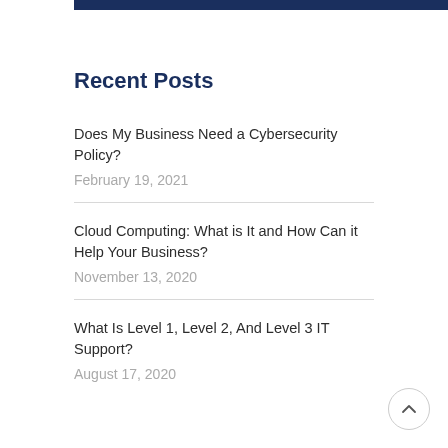Recent Posts
Does My Business Need a Cybersecurity Policy?
February 19, 2021
Cloud Computing: What is It and How Can it Help Your Business?
November 13, 2020
What Is Level 1, Level 2, And Level 3 IT Support?
August 17, 2020